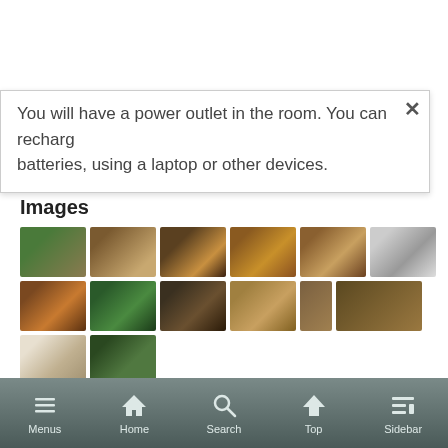You will have a power outlet in the room. You can recharge batteries, using a laptop or other devices.
Images
[Figure (photo): Grid of 13 thumbnail photos showing hotel/train room interiors including beds, bathrooms, TVs, sinks, toilets, and amenity items]
Menus  Home  Search  Top  Sidebar